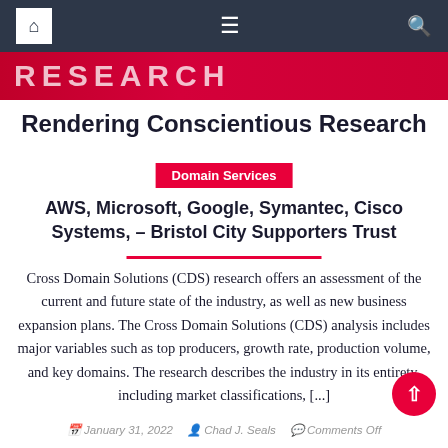Navigation bar with home, menu, and search icons
[Figure (logo): Red banner with RESEARCH logo text partially visible]
Rendering Conscientious Research
Domain Services
AWS, Microsoft, Google, Symantec, Cisco Systems, – Bristol City Supporters Trust
Cross Domain Solutions (CDS) research offers an assessment of the current and future state of the industry, as well as new business expansion plans. The Cross Domain Solutions (CDS) analysis includes major variables such as top producers, growth rate, production volume, and key domains. The research describes the industry in its entirety, including market classifications, [...]
January 31, 2022  Chad J. Seals  Comments Off